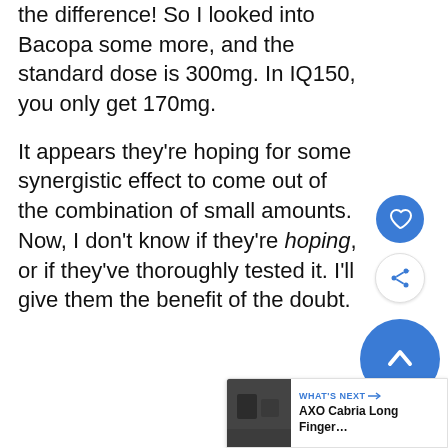the difference! So I looked into Bacopa some more, and the standard dose is 300mg. In IQ150, you only get 170mg.
It appears they're hoping for some synergistic effect to come out of the combination of small amounts. Now, I don't know if they're hoping, or if they've thoroughly tested it. I'll give them the benefit of the doubt.